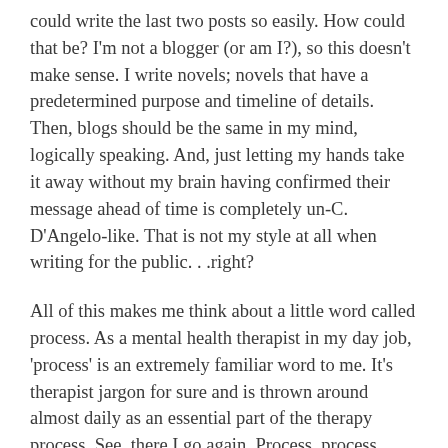could write the last two posts so easily. How could that be? I'm not a blogger (or am I?), so this doesn't make sense. I write novels; novels that have a predetermined purpose and timeline of details. Then, blogs should be the same in my mind, logically speaking. And, just letting my hands take it away without my brain having confirmed their message ahead of time is completely un-C. D'Angelo-like. That is not my style at all when writing for the public. . .right?
All of this makes me think about a little word called process. As a mental health therapist in my day job, 'process' is an extremely familiar word to me. It's therapist jargon for sure and is thrown around almost daily as an essential part of the therapy process. See, there I go again. Process, process, process.
So, let's break it down. The word process, when used as a